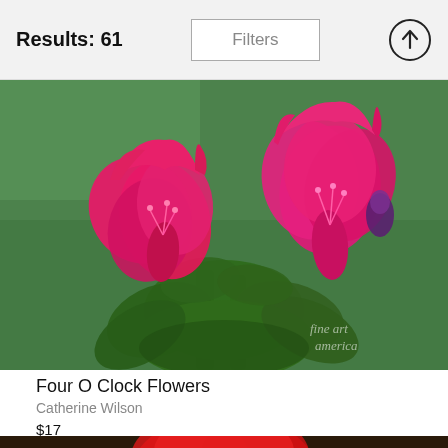Results: 61
Filters
[Figure (photo): A photograph of Four O Clock Flowers (Mirabilis jalapa) with bright pink/magenta blooms and green leaves, on a green grass background. Fine Art America watermark in lower right.]
Four O Clock Flowers
Catherine Wilson
$17
[Figure (photo): Partial view of a second flower photograph, showing a red flower against a dark background, cropped at the bottom of the page.]